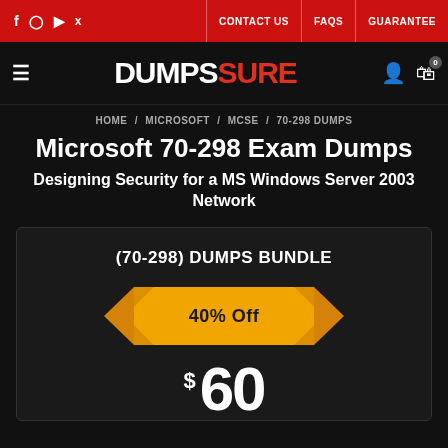DUMPSSURE — CONTACT US | FAQS | GUARANTEE
HOME / MICROSOFT / MCSE / 70-298 DUMPS
Microsoft 70-298 Exam Dumps
Designing Security for a MS Windows Server 2003 Network
(70-298) DUMPS BUNDLE
40% Off
$ 60